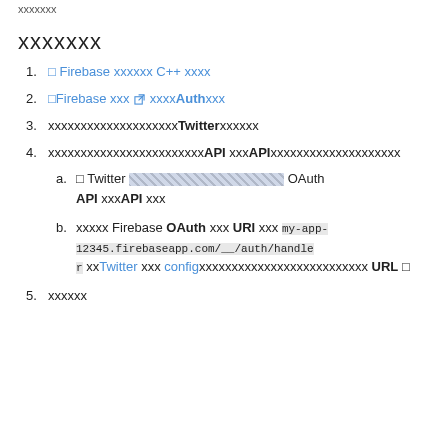xxxxxxx
xxxxxxx
1. [link] Firebase xxxxxx C++ xxxx
2. [link]Firebase xxx [ext icon] xxxxAuth xxx
3. xxxxxxxxxxxxxxxxxxTwitter xxxxxx
4. xxxxxxxxxxxxxxxxxxxxxxAPI xxxAPI xxxxxxxxxxxxxxxxxxxx
a. [icon] Twitter [striped] OAuth API xxxAPI xxx
b. xxxxx Firebase OAuth xxx URI xxx my-app-12345.firebaseapp.com/__/auth/handler  xxTwitter xxx config xxxxxxxxxxxxxxxxxxxxxxxxxx URL x
5. xxxxxx